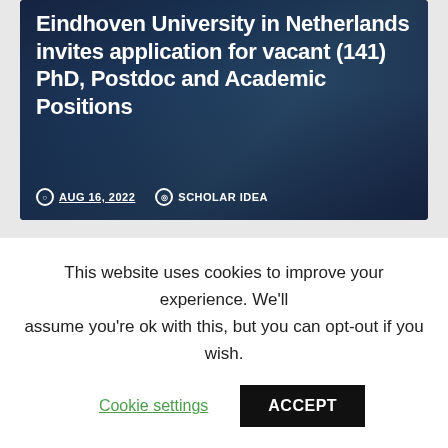[Figure (photo): University building at night with blue city lights, overlaid with bold white title text about Eindhoven University job openings]
Eindhoven University in Netherlands invites application for vacant (141) PhD, Postdoc and Academic Positions
AUG 16, 2022   SCHOLAR IDEA
This website uses cookies to improve your experience. We'll assume you're ok with this, but you can opt-out if you wish.
Cookie settings   ACCEPT